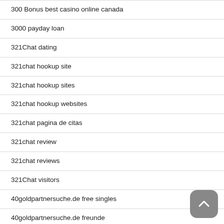300 Bonus best casino online canada
3000 payday loan
321Chat dating
321chat hookup site
321chat hookup sites
321chat hookup websites
321chat pagina de citas
321chat review
321chat reviews
321Chat visitors
40goldpartnersuche.de free singles
40goldpartnersuche.de freunde
40li yaslarinda tarihleme uygulama